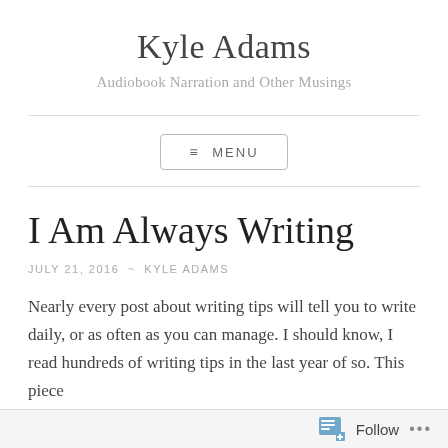Kyle Adams
Audiobook Narration and Other Musings
≡ MENU
I Am Always Writing
JULY 21, 2016  ~  KYLE ADAMS
Nearly every post about writing tips will tell you to write daily, or as often as you can manage. I should know, I read hundreds of writing tips in the last year of so. This piece
Follow  ...